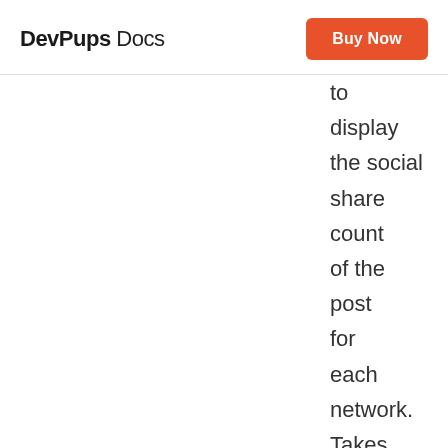DevPups Docs  Buy Now
to display the social share count of the post for each network. Takes the value yes to